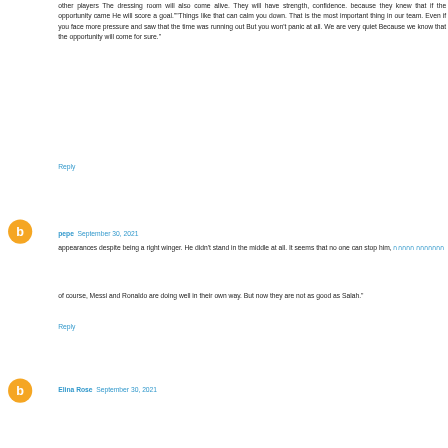other players The dressing room will also come alive. They will have strength, confidence. because they knew that if the opportunity came He will score a goal.""Things like that can calm you down. That is the most important thing in our team. Even if you face more pressure and saw that the time was running out But you won't panic at all. We are very quiet Because we know that the opportunity will come for sure."
Reply
pepe  September 30, 2021
appearances despite being a right winger. He didn't stand in the middle at all. It seems that no one can stop him, [link text] of course, Messi and Ronaldo are doing well in their own way. But now they are not as good as Salah."
Reply
Elina Rose  September 30, 2021